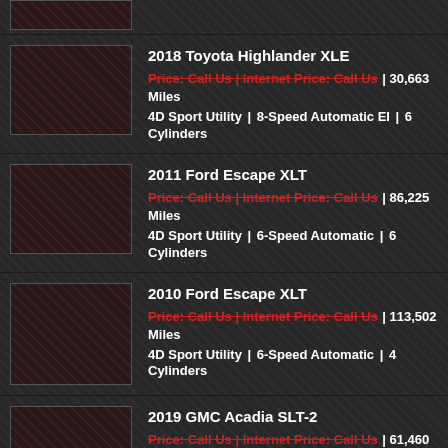2018 Toyota Highlander XLE | Price: Call Us | Internet Price: Call Us | 30,663 Miles | 4D Sport Utility | 8-Speed Automatic EI | 6 Cylinders
2011 Ford Escape XLT | Price: Call Us | Internet Price: Call Us | 86,225 Miles | 4D Sport Utility | 6-Speed Automatic | 6 Cylinders
2010 Ford Escape XLT | Price: Call Us | Internet Price: Call Us | 113,502 Miles | 4D Sport Utility | 6-Speed Automatic | 4 Cylinders
2019 GMC Acadia SLT-2 | Price: Call Us | Internet Price: Call Us | 61,460 Miles | 4D Sport Utility | 6-Speed Automatic | 6 Cylinders
2021 Jeep Gladiator Sport | Price: Call Us | Internet Price: Call Us | 24,979 Miles | 4D Sport Utility | 8-Speed Automatic | 6 Cylinders